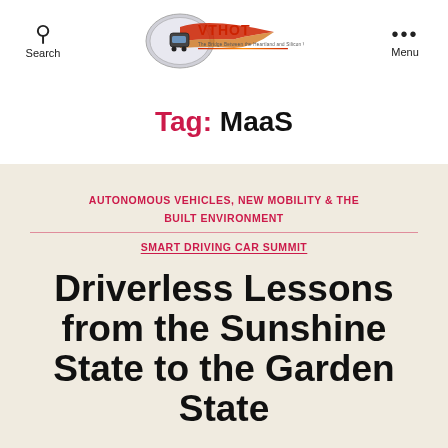Search | [Logo: VTHOT - The Bridge Between the Heartland and Silicon Valley] | Menu
Tag: MaaS
AUTONOMOUS VEHICLES, NEW MOBILITY & THE BUILT ENVIRONMENT
SMART DRIVING CAR SUMMIT
Driverless Lessons from the Sunshine State to the Garden State